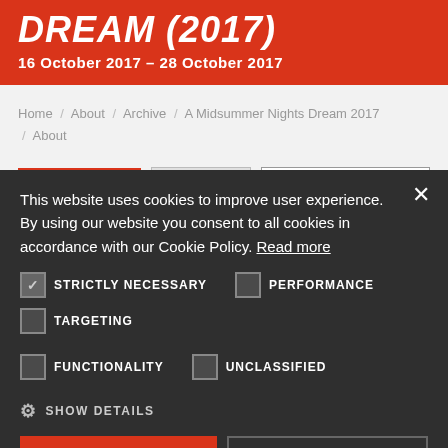DREAM (2017)
16 October 2017 – 28 October 2017
Home / About / Archive / A Midsummer Nights Dream 2017 / About
BOOK NOW > | ABOUT > | CAST & CREATIVES >
This website uses cookies to improve user experience. By using our website you consent to all cookies in accordance with our Cookie Policy. Read more
STRICTLY NECESSARY | PERFORMANCE | TARGETING | FUNCTIONALITY | UNCLASSIFIED
SHOW DETAILS
ACCEPT ALL | DECLINE ALL